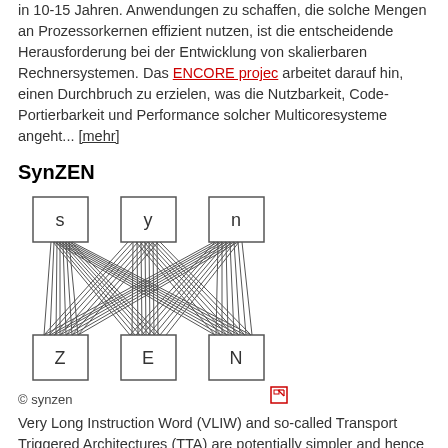in 10-15 Jahren. Anwendungen zu schaffen, die solche Mengen an Prozessorkernen effizient nutzen, ist die entscheidende Herausforderung bei der Entwicklung von skalierbaren Rechnersystemen. Das ENCORE projec arbeitet darauf hin, einen Durchbruch zu erzielen, was die Nutzbarkeit, Code-Portierbarkeit und Performance solcher Multicoresysteme angeht... [mehr]
SynZEN
[Figure (schematic): SynZEN architecture diagram showing three top nodes labeled s, y, n connected by multiple crossing lines to three bottom nodes labeled Z, E, N, forming a fully connected crossbar-style network. Copyright synzen.]
Very Long Instruction Word (VLIW) and so-called Transport Triggered Architectures (TTA) are potentially simpler and hence more power-efficient than superscalar architectures since they do not need hardware to detect instruction-level parallelism. We have developed an FPGA-prototype of a hybrid VLIW/TTA architecture named SynZEN...[more]